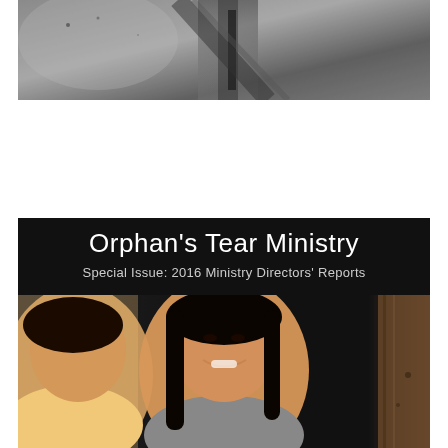[Figure (photo): Black and white close-up photo, partial view, grayscale tones]
Orphan's Tear Ministry
Special Issue: 2016 Ministry Directors' Reports
[Figure (photo): Color photo of smiling young Asian girls/women against a dark background]